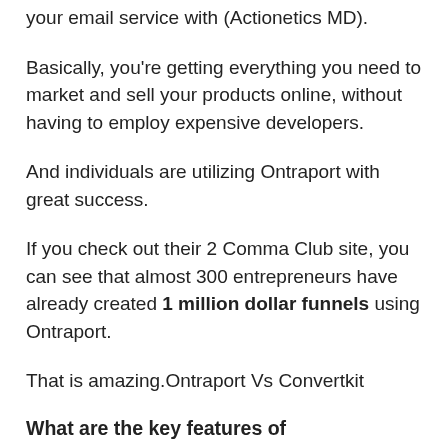your email service with (Actionetics MD).
Basically, you're getting everything you need to market and sell your products online, without having to employ expensive developers.
And individuals are utilizing Ontraport with great success.
If you check out their 2 Comma Club site, you can see that almost 300 entrepreneurs have already created 1 million dollar funnels using Ontraport.
That is amazing.Ontraport Vs Convertkit
What are the key features of